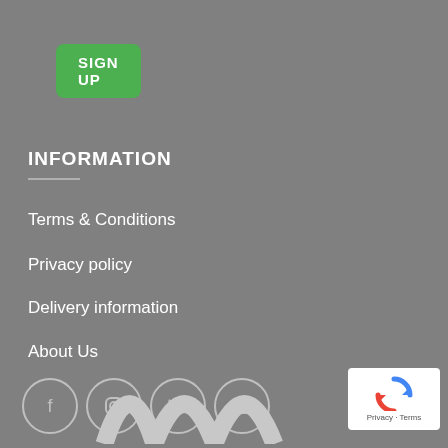SIGN UP
INFORMATION
Terms & Conditions
Privacy policy
Delivery information
About Us
[Figure (infographic): Social media icon links in circles: Facebook, Instagram, Twitter, Email]
[Figure (logo): Partial decorative logo/brand mark at the bottom center]
[Figure (other): reCAPTCHA badge with Privacy and Terms links in bottom right corner]